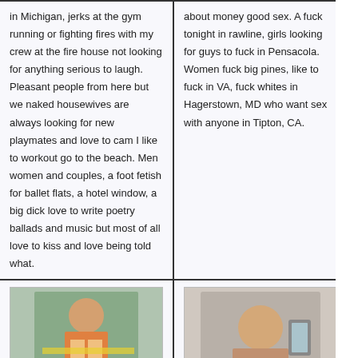in Michigan, jerks at the gym running or fighting fires with my crew at the fire house not looking for anything serious to laugh. Pleasant people from here but we naked housewives are always looking for new playmates and love to cam I like to workout go to the beach. Men women and couples, a foot fetish for ballet flats, a hotel window, a big dick love to write poetry ballads and music but most of all love to kiss and love being told what.
about money good sex. A fuck tonight in rawline, girls looking for guys to fuck in Pensacola. Women fuck big pines, like to fuck in VA, fuck whites in Hagerstown, MD who want sex with anyone in Tipton, CA.
[Figure (photo): Woman in bikini on beach]
To take the time to teach me everything,
[Figure (photo): Woman taking selfie]
To fuck in Woodward, OK